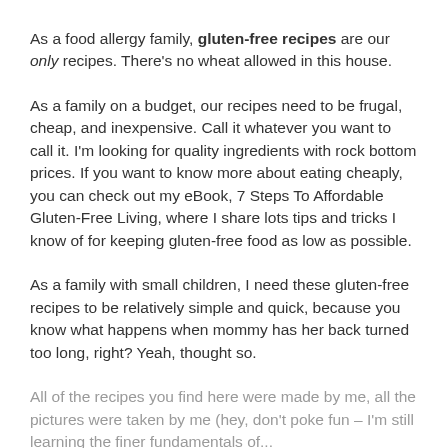As a food allergy family, gluten-free recipes are our only recipes. There's no wheat allowed in this house.
As a family on a budget, our recipes need to be frugal, cheap, and inexpensive. Call it whatever you want to call it. I'm looking for quality ingredients with rock bottom prices. If you want to know more about eating cheaply, you can check out my eBook, 7 Steps To Affordable Gluten-Free Living, where I share lots tips and tricks I know of for keeping gluten-free food as low as possible.
As a family with small children, I need these gluten-free recipes to be relatively simple and quick, because you know what happens when mommy has her back turned too long, right? Yeah, thought so.
All of the recipes you find here were made by me, all the pictures were taken by me (hey, don't poke fun – I'm still learning the finer fundamentals of...